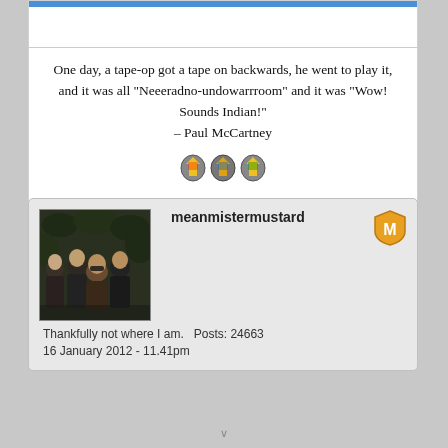One day, a tape-op got a tape on backwards, he went to play it, and it was all "Neeeradno-undowarrroom" and it was "Wow! Sounds Indian!"
– Paul McCartney 🎸🎸🎸
[Figure (photo): Black and white photo of four young men (The Beatles) wearing dark coats and hats, posed in front of dense foliage]
meanmistermustard
Thankfully not where I am.   Posts: 24663
16 January 2012 - 11.41pm